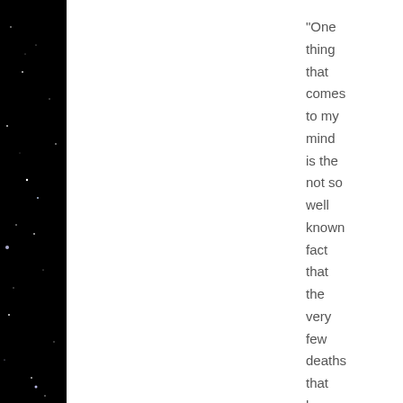[Figure (photo): Starfield background image (deep space photograph with stars on black background) flanking a white page area on left and right sides.]
“One thing that comes to my mind is the not so well known fact that the very few deaths that has occured in Iceland in the